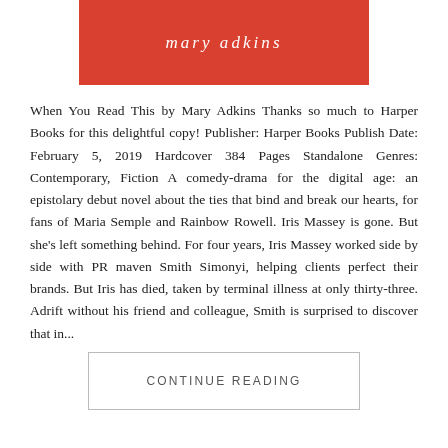[Figure (other): Red banner with italic white text reading 'mary adkins']
When You Read This by Mary Adkins Thanks so much to Harper Books for this delightful copy! Publisher: Harper Books Publish Date: February 5, 2019 Hardcover 384 Pages Standalone Genres: Contemporary, Fiction A comedy-drama for the digital age: an epistolary debut novel about the ties that bind and break our hearts, for fans of Maria Semple and Rainbow Rowell. Iris Massey is gone. But she's left something behind. For four years, Iris Massey worked side by side with PR maven Smith Simonyi, helping clients perfect their brands. But Iris has died, taken by terminal illness at only thirty-three. Adrift without his friend and colleague, Smith is surprised to discover that in...
CONTINUE READING